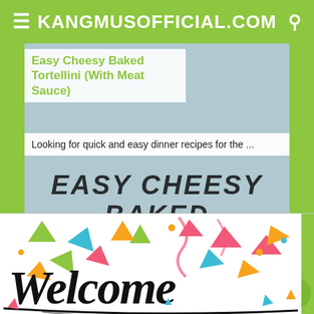KANGMUSOFFICIAL.COM
Easy Cheesy Baked Tortellini (With Meat Sauce)
Looking for quick and easy dinner recipes for the ...
EASY CHEESY BAKED
Click (2X) Close
[Figure (illustration): Welcome image with colorful confetti triangles and cursive Welcome text on white background]